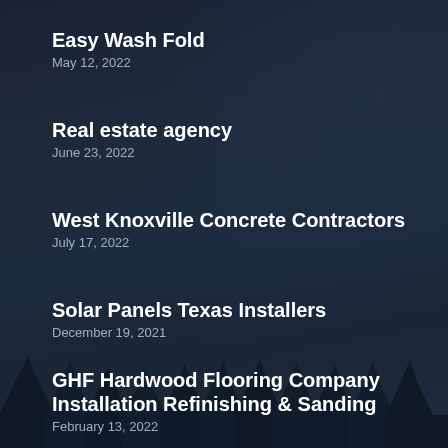Easy Wash Fold
May 12, 2022
Real estate agency
June 23, 2022
West Knoxville Concrete Contractors
July 17, 2022
Solar Panels Texas Installers
December 19, 2021
GHF Hardwood Flooring Company Installation Refinishing & Sanding
February 13, 2022